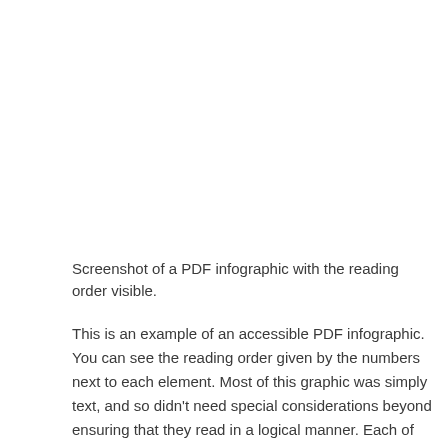Screenshot of a PDF infographic with the reading order visible.
This is an example of an accessible PDF infographic. You can see the reading order given by the numbers next to each element. Most of this graphic was simply text, and so didn't need special considerations beyond ensuring that they read in a logical manner. Each of the pictures